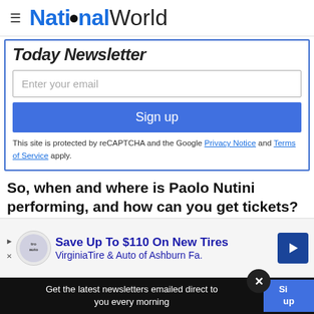NationalWorld
Today Newsletter
Enter your email
Sign up
This site is protected by reCAPTCHA and the Google Privacy Notice and Terms of Service apply.
So, when and where is Paolo Nutini performing, and how can you get tickets?
He
[Figure (screenshot): Advertisement banner: Save Up To $110 On New Tires - VirginiaTire & Auto of Ashburn Fa.]
Get the latest newsletters emailed direct to you every morning
Sign up